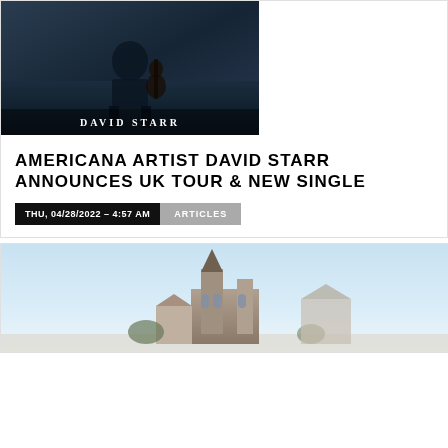[Figure (photo): Photo of David Starr musician sitting with guitar, dark moody background, 'DAVID STARR' text overlay at bottom]
AMERICANA ARTIST DAVID STARR ANNOUNCES UK TOUR & NEW SINGLE
THU, 04/28/2022 - 4:57 AM   ARTICLES
[Figure (photo): Photo of a stone church building against a pale blue sky]